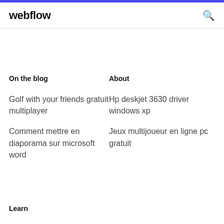webflow
On the blog
About
Golf with your friends gratuit multiplayer
Hp deskjet 3630 driver windows xp
Comment mettre en diaporama sur microsoft word
Jeux multijoueur en ligne pc gratuit
Learn